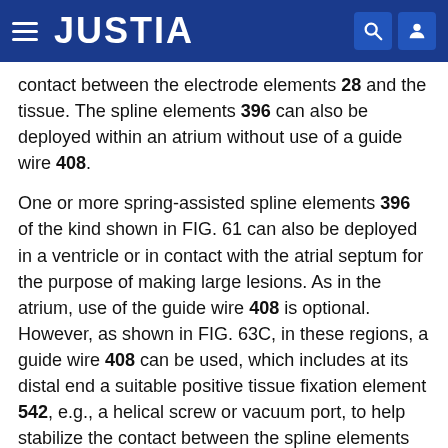JUSTIA
contact between the electrode elements 28 and the tissue. The spline elements 396 can also be deployed within an atrium without use of a guide wire 408.
One or more spring-assisted spline elements 396 of the kind shown in FIG. 61 can also be deployed in a ventricle or in contact with the atrial septum for the purpose of making large lesions. As in the atrium, use of the guide wire 408 is optional. However, as shown in FIG. 63C, in these regions, a guide wire 408 can be used, which includes at its distal end a suitable positive tissue fixation element 542, e.g., a helical screw or vacuum port, to help stabilize the contact between the spline elements 396 and myocardial tissue. Several spline elements 396 can be arranged in a circumferentially spaced star pattern to cover a large surface area and thereby make possible the larger, deeper lesions indicated in the first instance by a course of action.